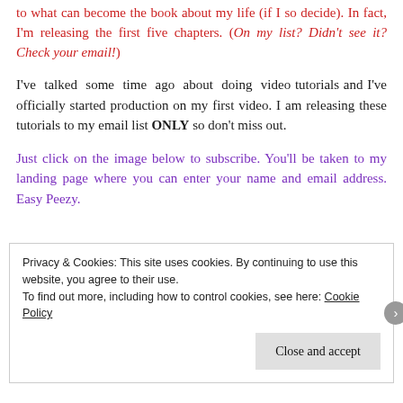to what can become the book about my life (if I so decide). In fact, I'm releasing the first five chapters. (On my list? Didn't see it? Check your email!)
I've talked some time ago about doing video tutorials and I've officially started production on my first video. I am releasing these tutorials to my email list ONLY so don't miss out.
Just click on the image below to subscribe. You'll be taken to my landing page where you can enter your name and email address. Easy Peezy.
Privacy & Cookies: This site uses cookies. By continuing to use this website, you agree to their use.
To find out more, including how to control cookies, see here: Cookie Policy